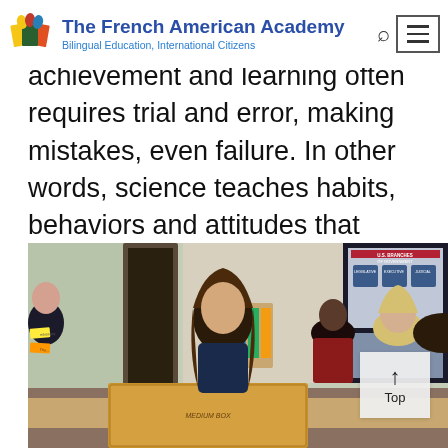The French American Academy — Bilingual Education, International Citizens
achievement and learning often requires trial and error, making mistakes, even failure. In other words, science teaches habits, behaviors and attitudes that support self-directed, autonomous, lifelong learning.
[Figure (photo): Students in a classroom working around a table with a cardboard box labeled MEDIUM BOX. Educational posters including U.S. Branches of Government are visible on the wall.]